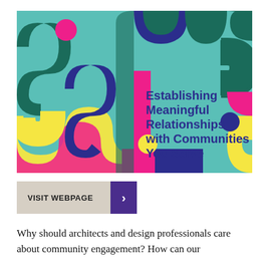[Figure (illustration): Colorful abstract illustration with interconnected curvy tube shapes in teal, navy blue, magenta/pink, yellow, and dark green on a teal background. Text overlay reads 'Establishing Meaningful Relationships with Communities You Serve' in bold navy blue font.]
[Figure (other): A button with tan/beige background labeled 'VISIT WEBPAGE' in bold uppercase black text, with a purple arrow button on the right side.]
Why should architects and design professionals care about community engagement? How can our